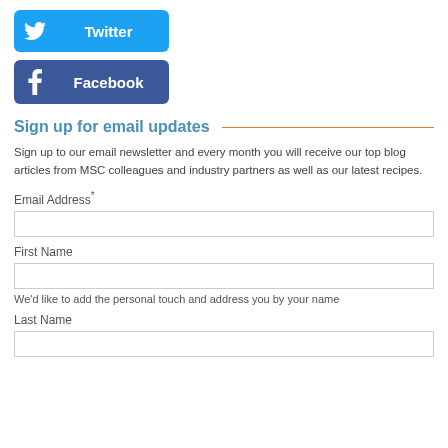[Figure (other): Twitter social media button — rounded rectangle with sky-blue background, white Twitter bird icon on left, white bold text 'Twitter']
[Figure (other): Facebook social media button — rounded rectangle with dark-blue background, white 'f' icon on left, white bold text 'Facebook']
Sign up for email updates
Sign up to our email newsletter and every month you will receive our top blog articles from MSC colleagues and industry partners as well as our latest recipes.
Email Address*
First Name
We'd like to add the personal touch and address you by your name
Last Name